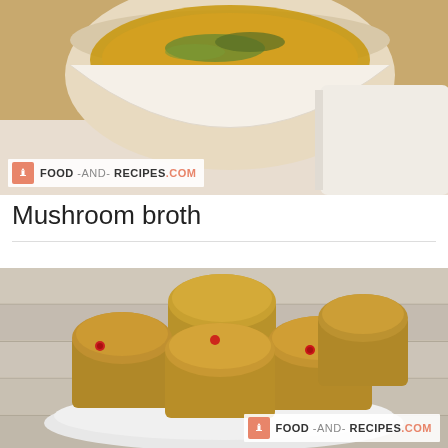[Figure (photo): A white ceramic bowl filled with golden mushroom broth, garnished with green herbs, placed on a white cloth or napkin. The food-and-recipes.com watermark appears at the bottom-left of the image.]
Mushroom broth
[Figure (photo): A white plate piled with golden-brown berry muffins on a light wooden surface. The muffins have small red berry pieces visible. The food-and-recipes.com watermark appears at the bottom-right of the image.]